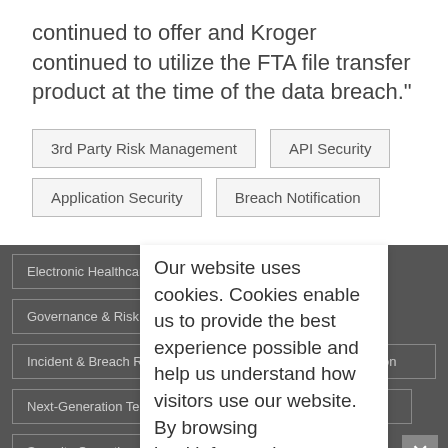continued to offer and Kroger continued to utilize the FTA file transfer product at the time of the data breach."
3rd Party Risk Management
API Security
Application Security
Breach Notification
Electronic Healthcare Records
Governance & Risk Management
Incident & Breach Response
Legislation & Litigation
Next-Generation Technologies & Secure Development
Security Operations
Standards, Regulations & Compliance
Our website uses cookies. Cookies enable us to provide the best experience possible and help us understand how visitors use our website. By browsing bankinfosecurity.com, you agree to our use of cookies.